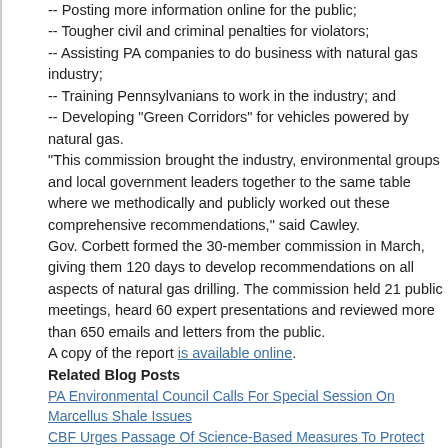-- Posting more information online for the public;
-- Tougher civil and criminal penalties for violators;
-- Assisting PA companies to do business with natural gas industry;
-- Training Pennsylvanians to work in the industry; and
-- Developing "Green Corridors" for vehicles powered by natural gas.
"This commission brought the industry, environmental groups and local government leaders together to the same table where we methodically and publicly worked out these comprehensive recommendations," said Cawley.
Gov. Corbett formed the 30-member commission in March, giving them 120 days to develop recommendations on all aspects of natural gas drilling. The commission held 21 public meetings, heard 60 expert presentations and reviewed more than 650 emails and letters from the public.
A copy of the report is available online.
Related Blog Posts
PA Environmental Council Calls For Special Session On Marcellus Shale Issues
CBF Urges Passage Of Science-Based Measures To Protect Environment From Drilling
Enviro. Groups On Marcellus Commission Call Report Meaningful First Step, More Needed
[Figure (other): Social sharing icons: Gmail, Blogger, Twitter, Facebook, Pinterest]